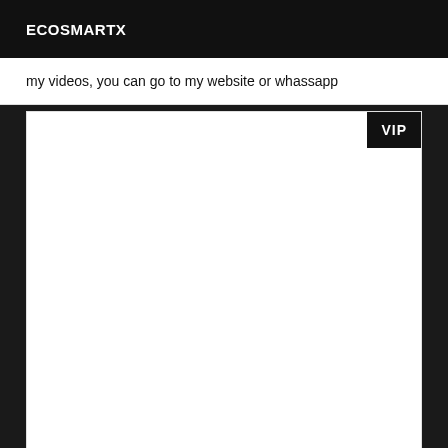ECOSMARTX
my videos, you can go to my website or whassapp
[Figure (other): Large white content box with a VIP badge in the top-right corner]